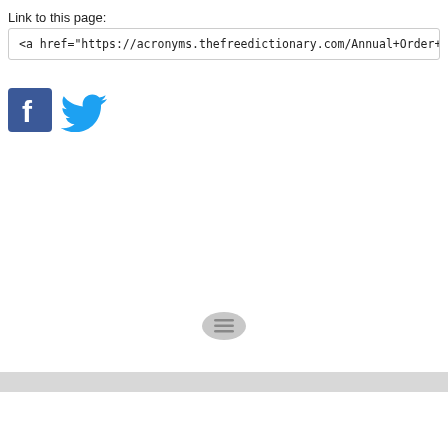Link to this page:
<a href="https://acronyms.thefreedictionary.com/Annual+Order+Value">A
[Figure (logo): Facebook and Twitter social media icons side by side]
Footer bar with hamburger menu button